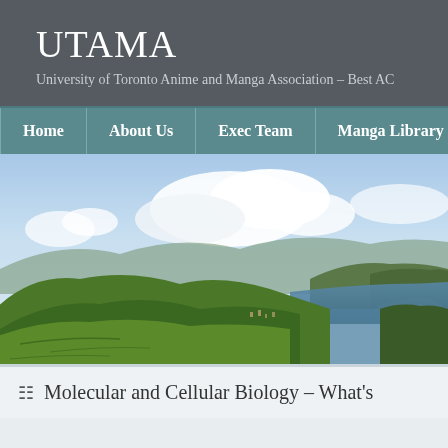UTAMA
University of Toronto Anime and Manga Association – Best AC
Home | About Us | Exec Team | Manga Library
[Figure (photo): Panoramic landscape photo showing green rolling hills, a coastal cliff with ocean view, and a partly cloudy blue sky. Small town visible in the middle distance.]
Molecular and Cellular Biology – What's